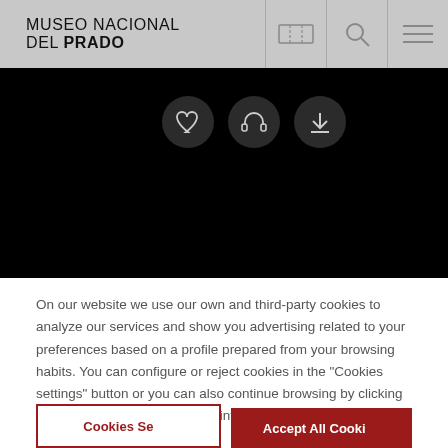MUSEO NACIONAL DEL PRADO
[Figure (screenshot): Dark image area with three circular icon buttons: heart/favorite, headphones/audio, and download arrow]
On our website we use our own and third-party cookies to analyze our services and show you advertising related to your preferences based on a profile prepared from your browsing habits. You can configure or reject cookies in the "Cookies settings" button or you can also continue browsing by clicking "Accept all cookies". For more information, you can visit our cookie policy .